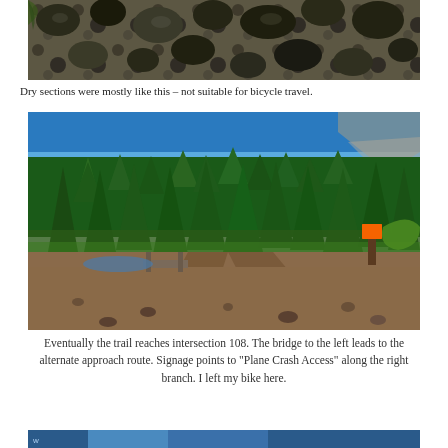[Figure (photo): Close-up photo of rocky trail surface with dark stones and loose rocks, showing dry conditions not suitable for bicycle travel. Vegetation visible at edges.]
Dry sections were mostly like this – not suitable for bicycle travel.
[Figure (photo): Wide panoramic photo of a dirt trail fork at intersection 108. Dense conifer forest with tall pine trees against a bright blue sky. The trail splits with a bridge to the left leading to the alternate approach route. An orange trail marker sign is visible on the right side. Rocky dirt surface with scattered stones.]
Eventually the trail reaches intersection 108. The bridge to the left leads to the alternate approach route. Signage points to "Plane Crash Access" along the right branch. I left my bike here.
[Figure (photo): Partial photo at bottom of page, appears to be another trail or outdoor scene, only a sliver visible.]